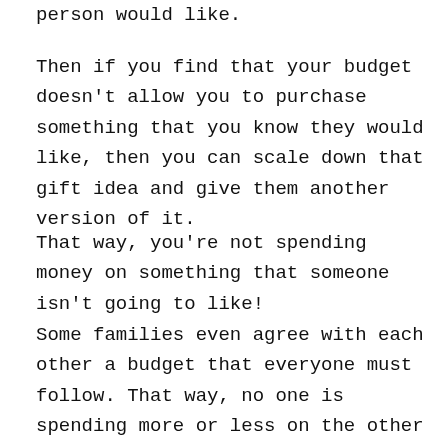person would like.
Then if you find that your budget doesn't allow you to purchase something that you know they would like, then you can scale down that gift idea and give them another version of it.
That way, you're not spending money on something that someone isn't going to like!
Some families even agree with each other a budget that everyone must follow. That way, no one is spending more or less on the other person!